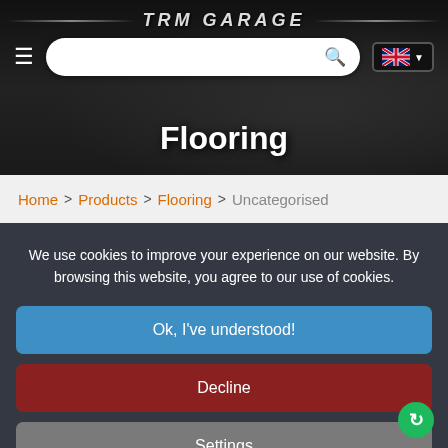[Figure (screenshot): TRM Garage website hero header with logo, search bar, hamburger menu, and UK language selector over a dark garage background photo]
Flooring
Home > Products > Flooring > Uncategorised
We use cookies to improve your experience on our website. By browsing this website, you agree to our use of cookies.
Ok, I've understood!
Decline
Settings
More Info